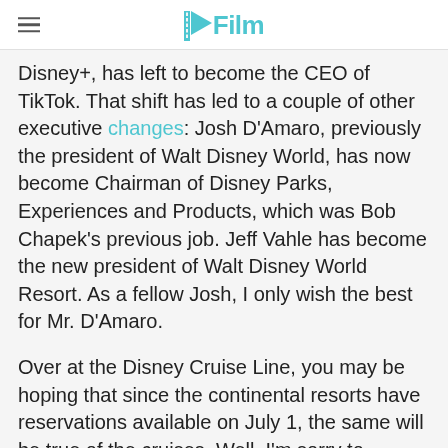/Film
Disney+, has left to become the CEO of TikTok. That shift has led to a couple of other executive changes: Josh D'Amaro, previously the president of Walt Disney World, has now become Chairman of Disney Parks, Experiences and Products, which was Bob Chapek's previous job. Jeff Vahle has become the new president of Walt Disney World Resort. As a fellow Josh, I only wish the best for Mr. D'Amaro.
Over at the Disney Cruise Line, you may be hoping that since the continental resorts have reservations available on July 1, the same will be true of the cruises. Well, I'm sorry to disappoint you (I am, really), but that's not the case. As of last week, the Disney Cruise Line...